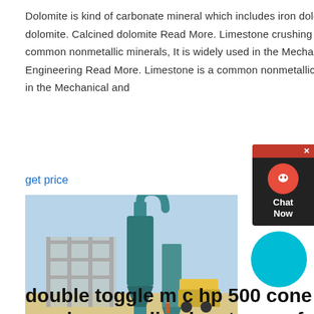Dolomite is kind of carbonate mineral which includes iron dolomite and manganese dolomite. Calcined dolomite Read More. Limestone crushing plant. Limestone is a common nonmetallic minerals, It is widely used in the Mechanical and Production Engineering Read More. Limestone is a common nonmetallic minerals, It is widely used in the Mechanical and
get price
[Figure (photo): Industrial machinery at a mining/crushing plant site showing large equipment including what appears to be a cone crusher or mill with cyclone separator, set against a pale blue sky with sandy ground]
double toggle m c hp 500 cone crusher mm.disadvantages of